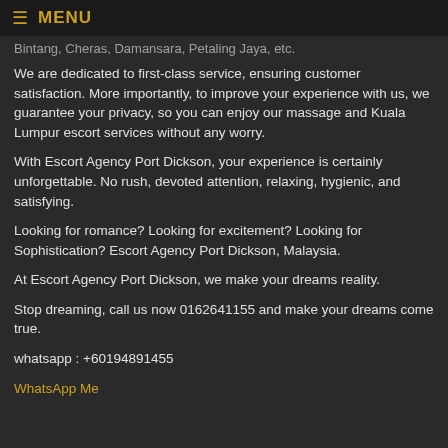MENU
Bintang, Cheras, Damansara, Petaling Jaya, etc.
We are dedicated to first-class service, ensuring customer satisfaction. More importantly, to improve your experience with us, we guarantee your privacy, so you can enjoy our massage and Kuala Lumpur escort services without any worry.
With Escort Agency Port Dickson, your experience is certainly unforgettable. No rush, devoted attention, relaxing, hygienic, and satisfying.
Looking for romance? Looking for excitement? Looking for Sophistication? Escort Agency Port Dickson, Malaysia.
At Escort Agency Port Dickson, we make your dreams reality.
Stop dreaming, call us now 0162641155 and make your dreams come true.
whatsapp : +60194891455
WhatsApp Me